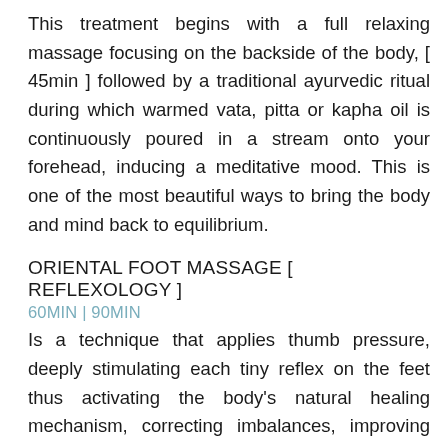This treatment begins with a full relaxing massage focusing on the backside of the body, [ 45min ] followed by a traditional ayurvedic ritual during which warmed vata, pitta or kapha oil is continuously poured in a stream onto your forehead, inducing a meditative mood. This is one of the most beautiful ways to bring the body and mind back to equilibrium.
ORIENTAL FOOT MASSAGE [ REFLEXOLOGY ]
60MIN | 90MIN
Is a technique that applies thumb pressure, deeply stimulating each tiny reflex on the feet thus activating the body's natural healing mechanism, correcting imbalances, improving circulation and